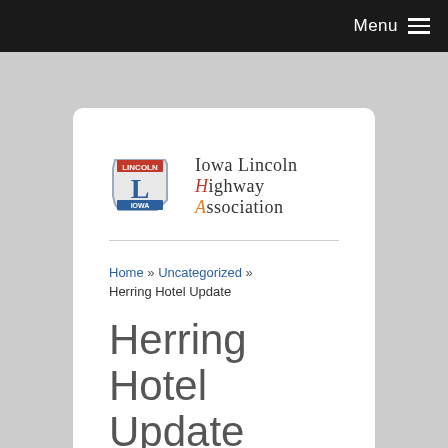Menu
[Figure (logo): Iowa Lincoln Highway Association logo with state outline and letter L]
Iowa Lincoln Highway Association
Home » Uncategorized » Herring Hotel Update
Herring Hotel Update